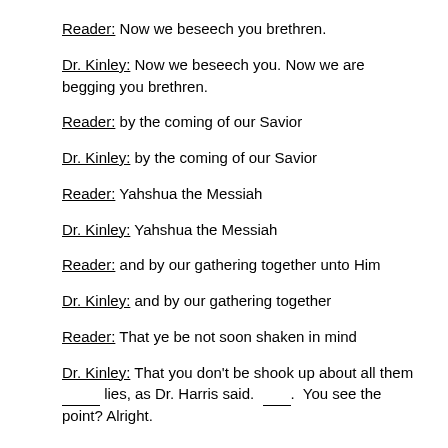Reader:  Now we beseech you brethren.
Dr. Kinley:  Now we beseech you.  Now we are begging you brethren.
Reader:  by the coming of our Savior
Dr. Kinley:  by the coming of our Savior
Reader:  Yahshua the Messiah
Dr. Kinley:  Yahshua the Messiah
Reader:  and by our gathering together unto Him
Dr. Kinley:  and by our gathering together
Reader:  That ye be not soon shaken in mind
Dr. Kinley:  That you don't be shook up about all them ____ lies, as Dr. Harris said.  ____.  You see the point?  Alright.